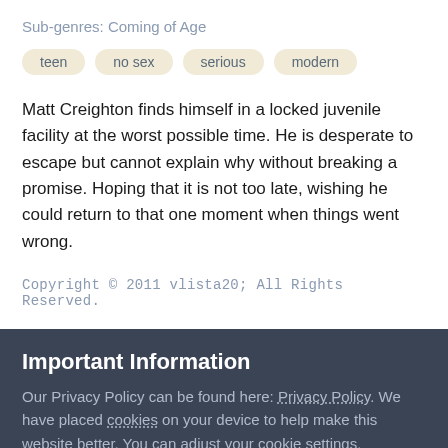Sub-genres: Coming of Age
teen
no sex
serious
modern
Matt Creighton finds himself in a locked juvenile facility at the worst possible time. He is desperate to escape but cannot explain why without breaking a promise. Hoping that it is not too late, wishing he could return to that one moment when things went wrong.
Copyright © 2011 vlista20; All Rights Reserved.
Important Information
Our Privacy Policy can be found here: Privacy Policy. We have placed cookies on your device to help make this website better. You can adjust your cookie settings, otherwise we'll assume you're okay to continue..
✓  I accept